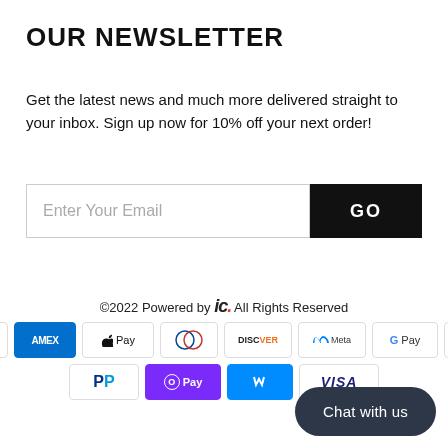OUR NEWSLETTER
Get the latest news and much more delivered straight to your inbox. Sign up now for 10% off your next order!
Enter Your Email  GO
©2022 Powered by ic. All Rights Reserved
[Figure (other): Payment method icons: Amazon, Amex, Apple Pay, Diners Club, Discover, Meta, Google Pay, Mastercard, PayPal, OPay, Venmo, Visa]
Chat with us